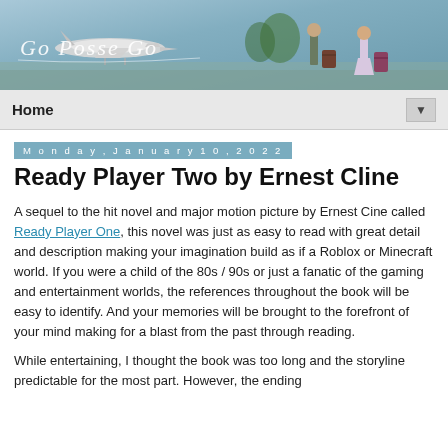[Figure (photo): Blog header banner showing a couple carrying luggage near a small aircraft on a tarmac, with a cursive logo overlay reading 'Go Posse Go']
Home ▼
Monday, January 10, 2022
Ready Player Two by Ernest Cline
A sequel to the hit novel and major motion picture by Ernest Cine called Ready Player One, this novel was just as easy to read with great detail and description making your imagination build as if a Roblox or Minecraft world. If you were a child of the 80s / 90s or just a fanatic of the gaming and entertainment worlds, the references throughout the book will be easy to identify. And your memories will be brought to the forefront of your mind making for a blast from the past through reading.
While entertaining, I thought the book was too long and the storyline predictable for the most part. However, the ending